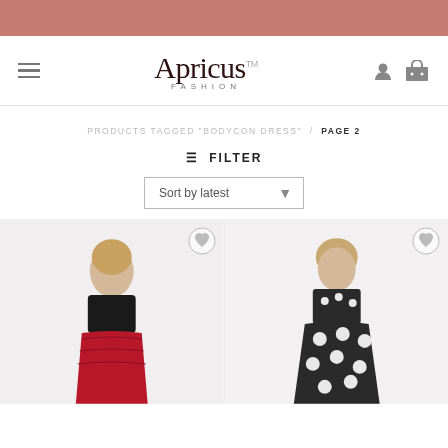[Figure (screenshot): Apricus Fashion e-commerce website screenshot showing navigation bar with hamburger menu, logo, user and cart icons, breadcrumb showing Products Tagged Bodycon Dress / Page 2, Filter button, Sort by latest dropdown, and two product images of women in dresses.]
Apricus FASHION
PRODUCTS TAGGED "BODYCON DRESS" / PAGE 2
≡ FILTER
Sort by latest